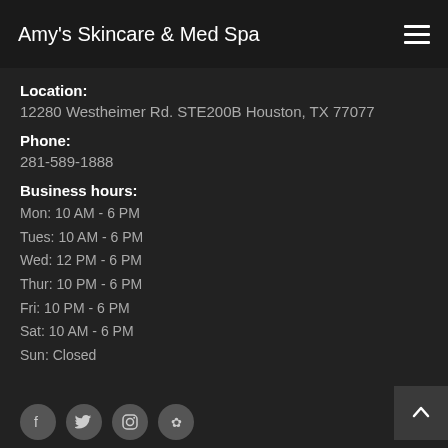Amy's Skincare & Med Spa
Location:
12280 Westheimer Rd. STE200B Houston, TX 77077
Phone:
281-589-1888
Business hours:
Mon: 10 AM - 6 PM
Tues: 10 AM - 6 PM
Wed: 12 PM - 6 PM
Thur: 10 PM - 6 PM
Fri: 10 PM - 6 PM
Sat: 10 AM - 6 PM
Sun: Closed